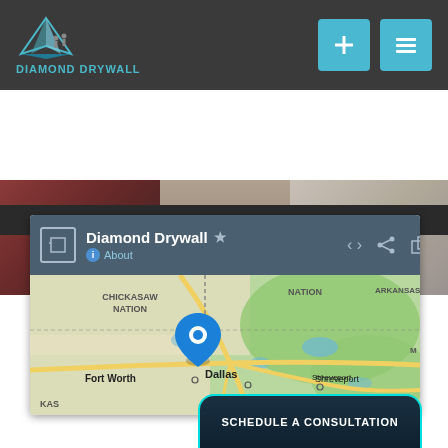[Figure (screenshot): Website navigation bar for Diamond Drywall with logo on the left and two teal square buttons (plus and menu) on the right]
[Figure (photo): Hero image strip showing drywall workers, partially visible]
[Figure (screenshot): Google Maps card showing Diamond Drywall location near Dallas, Fort Worth, Texas with a blue map pin. Includes a 'SCHEDULE A CONSULTATION' button at the bottom.]